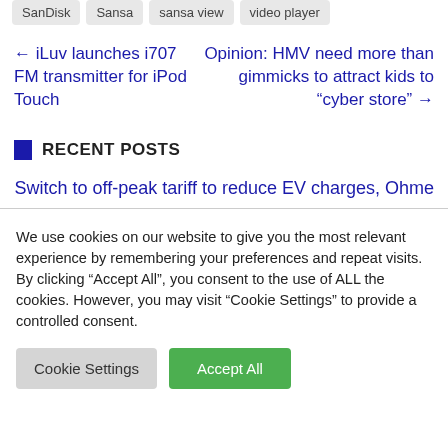SanDisk
Sansa
sansa view
video player
← iLuv launches i707 FM transmitter for iPod Touch
Opinion: HMV need more than gimmicks to attract kids to "cyber store" →
RECENT POSTS
Switch to off-peak tariff to reduce EV charges, Ohme
We use cookies on our website to give you the most relevant experience by remembering your preferences and repeat visits. By clicking "Accept All", you consent to the use of ALL the cookies. However, you may visit "Cookie Settings" to provide a controlled consent.
Cookie Settings
Accept All